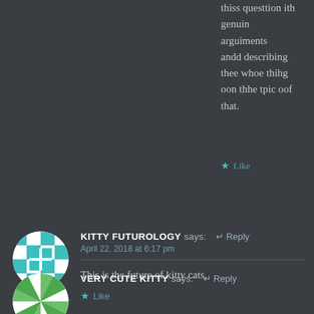thiss questtion ith genuin arguiments andd describing thee whoe thihg oon thhe tpic oof that.
★ Like
KITTY FUTUROLOGY says: ↵ Reply
April 22, 2018 at 6:17 pm
This is the future of kitty cats.
★ Like
VERY CUTE KITTY says: ↵ Reply